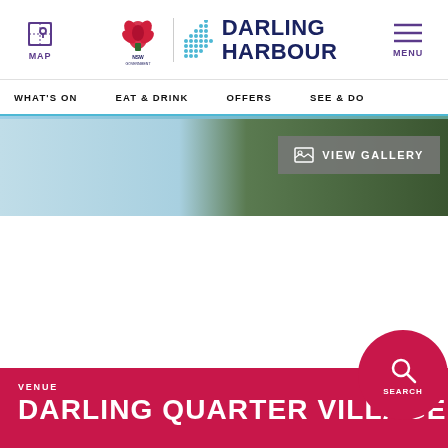MAP | DARLING HARBOUR | MENU
WHAT'S ON  EAT & DRINK  OFFERS  SEE & DO
[Figure (screenshot): Hero image of Darling Harbour with VIEW GALLERY button overlay]
VENUE
DARLING QUARTER VILLAGE